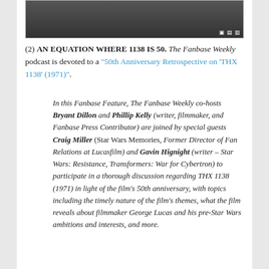[Figure (photo): Dark image with social media icons (Facebook, Instagram, Twitter) in the top right corner]
(2) AN EQUATION WHERE 1138 IS 50. The Fanbase Weekly podcast is devoted to a "50th Anniversary Retrospective on 'THX 1138' (1971)".
In this Fanbase Feature, The Fanbase Weekly co-hosts Bryant Dillon and Phillip Kelly (writer, filmmaker, and Fanbase Press Contributor) are joined by special guests Craig Miller (Star Wars Memories, Former Director of Fan Relations at Lucasfilm) and Gavin Hignight (writer – Star Wars: Resistance, Transformers: War for Cybertron) to participate in a thorough discussion regarding THX 1138 (1971) in light of the film’s 50th anniversary, with topics including the timely nature of the film’s themes, what the film reveals about filmmaker George Lucas and his pre-Star Wars ambitions and interests, and more.